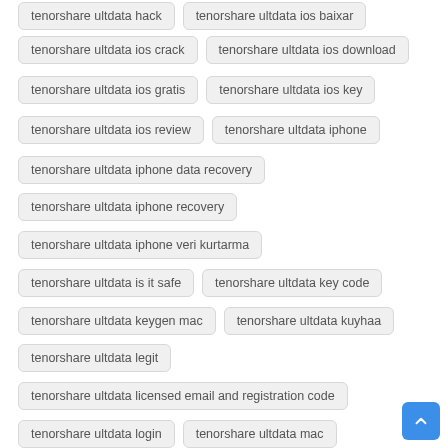tenorshare ultdata hack
tenorshare ultdata ios baixar
tenorshare ultdata ios crack
tenorshare ultdata ios download
tenorshare ultdata ios gratis
tenorshare ultdata ios key
tenorshare ultdata ios review
tenorshare ultdata iphone
tenorshare ultdata iphone data recovery
tenorshare ultdata iphone recovery
tenorshare ultdata iphone veri kurtarma
tenorshare ultdata is it safe
tenorshare ultdata key code
tenorshare ultdata keygen mac
tenorshare ultdata kuyhaa
tenorshare ultdata legit
tenorshare ultdata licensed email and registration code
tenorshare ultdata login
tenorshare ultdata mac
tenorshare ultdata mac crack
tenorshare ultdata mod
tenorshare ultdata mod apk
tenorshare ultdata nasıl kullanılır